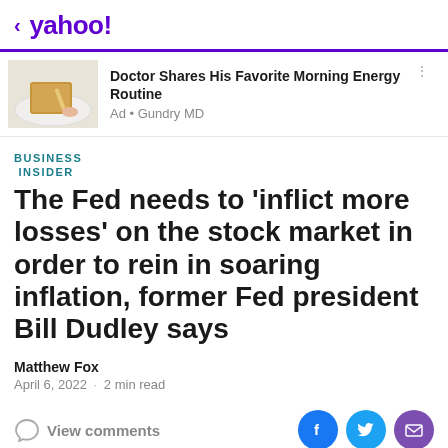< yahoo!
[Figure (photo): Ad thumbnail showing toast with butter on a plate]
Doctor Shares His Favorite Morning Energy Routine
Ad • Gundry MD
BUSINESS INSIDER
The Fed needs to 'inflict more losses' on the stock market in order to rein in soaring inflation, former Fed president Bill Dudley says
Matthew Fox
April 6, 2022 · 2 min read
View comments